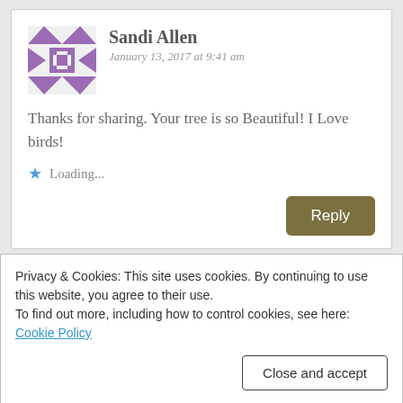Sandi Allen
January 13, 2017 at 9:41 am
Thanks for sharing. Your tree is so Beautiful! I Love birds!
Loading...
Reply
mary
January 13, 2017 at 9:53 am
Privacy & Cookies: This site uses cookies. By continuing to use this website, you agree to their use.
To find out more, including how to control cookies, see here:
Cookie Policy
Close and accept
Reply